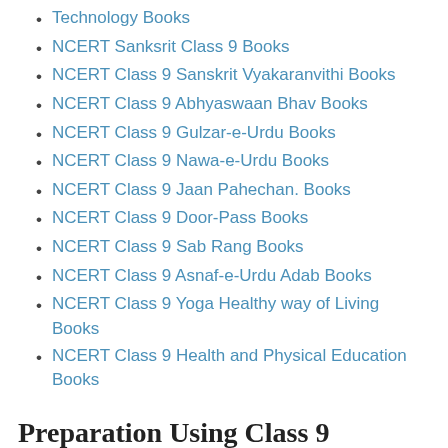Technology Books
NCERT Sanksrit Class 9 Books
NCERT Class 9 Sanskrit Vyakaranvithi Books
NCERT Class 9 Abhyaswaan Bhav Books
NCERT Class 9 Gulzar-e-Urdu Books
NCERT Class 9 Nawa-e-Urdu Books
NCERT Class 9 Jaan Pahechan. Books
NCERT Class 9 Door-Pass Books
NCERT Class 9 Sab Rang Books
NCERT Class 9 Asnaf-e-Urdu Adab Books
NCERT Class 9 Yoga Healthy way of Living Books
NCERT Class 9 Health and Physical Education Books
Preparation Using Class 9 Information and Communication Technology NCERT Book
You can use the below given tips in order to prepare for your class 9 Information and Communication Technology board examination. Some simple & quick tips along with the resources for your easy